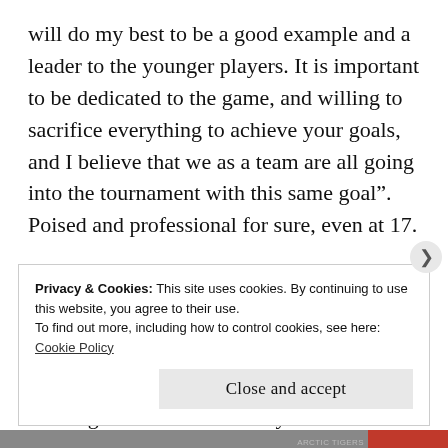will do my best to be a good example and a leader to the younger players. It is important to be dedicated to the game, and willing to sacrifice everything to achieve your goals, and I believe that we as a team are all going into the tournament with this same goal". Poised and professional for sure, even at 17.

Knowing that it is not necessarily common for a female player to participate in more than two U18 tournaments, I became curious to know more about this young Norwegian. “When I was 3-years old I started to skate
Privacy & Cookies: This site uses cookies. By continuing to use this website, you agree to their use.
To find out more, including how to control cookies, see here:
Cookie Policy
Close and accept